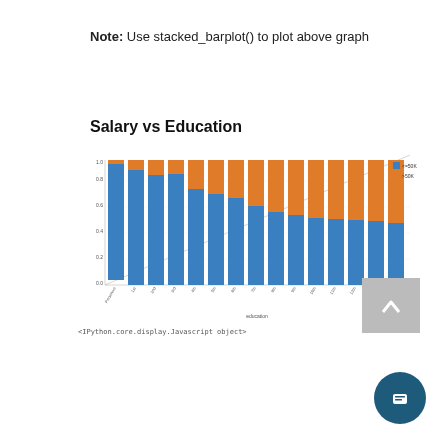Note: Use stacked_barplot() to plot above graph
Salary vs Education
[Figure (stacked-bar-chart): Stacked bar chart showing salary vs education levels, with blue (<=50K) and orange (>50K) segments. Education levels from lowest to highest on x-axis, bars stacked to show proportions.]
<IPython.core.display.Javascript object>